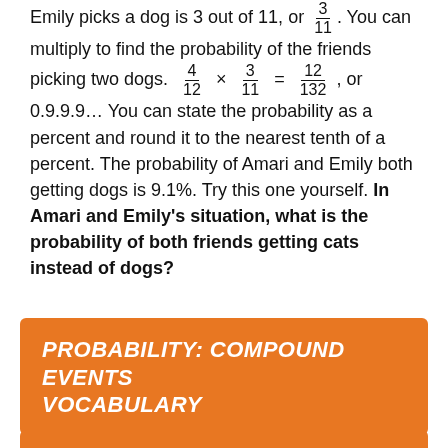Emily picks a dog is 3 out of 11, or 3/11. You can multiply to find the probability of the friends picking two dogs. 4/12 × 3/11 = 12/132, or 0.9.9.9... You can state the probability as a percent and round it to the nearest tenth of a percent. The probability of Amari and Emily both getting dogs is 9.1%. Try this one yourself. In Amari and Emily's situation, what is the probability of both friends getting cats instead of dogs?
PROBABILITY: COMPOUND EVENTS VOCABULARY